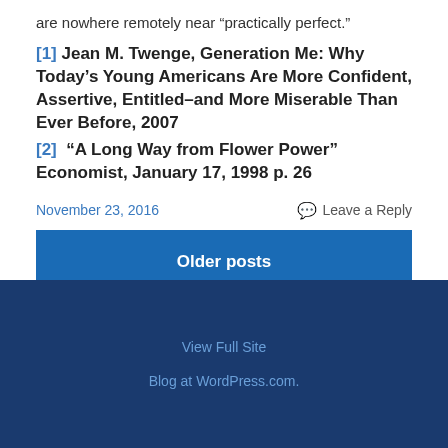are nowhere remotely near “practically perfect.”
[1] Jean M. Twenge, Generation Me: Why Today’s Young Americans Are More Confident, Assertive, Entitled–and More Miserable Than Ever Before, 2007
[2] “A Long Way from Flower Power” Economist, January 17, 1998 p. 26
November 23, 2016
Leave a Reply
Older posts
View Full Site
Blog at WordPress.com.